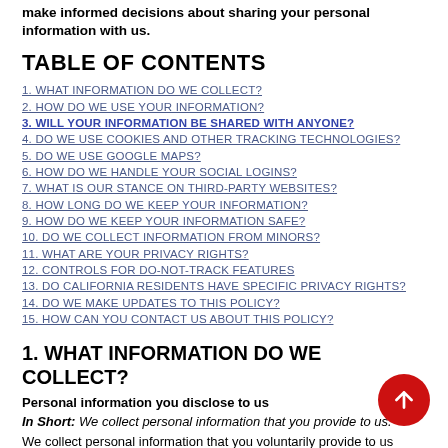make informed decisions about sharing your personal information with us.
TABLE OF CONTENTS
1. WHAT INFORMATION DO WE COLLECT?
2. HOW DO WE USE YOUR INFORMATION?
3. WILL YOUR INFORMATION BE SHARED WITH ANYONE?
4. DO WE USE COOKIES AND OTHER TRACKING TECHNOLOGIES?
5. DO WE USE GOOGLE MAPS?
6. HOW DO WE HANDLE YOUR SOCIAL LOGINS?
7. WHAT IS OUR STANCE ON THIRD-PARTY WEBSITES?
8. HOW LONG DO WE KEEP YOUR INFORMATION?
9. HOW DO WE KEEP YOUR INFORMATION SAFE?
10. DO WE COLLECT INFORMATION FROM MINORS?
11. WHAT ARE YOUR PRIVACY RIGHTS?
12. CONTROLS FOR DO-NOT-TRACK FEATURES
13. DO CALIFORNIA RESIDENTS HAVE SPECIFIC PRIVACY RIGHTS?
14. DO WE MAKE UPDATES TO THIS POLICY?
15. HOW CAN YOU CONTACT US ABOUT THIS POLICY?
1. WHAT INFORMATION DO WE COLLECT?
Personal information you disclose to us
In Short:  We collect personal information that you provide to us.
We collect personal information that you voluntarily provide to us when registering at the Services expressing an interest